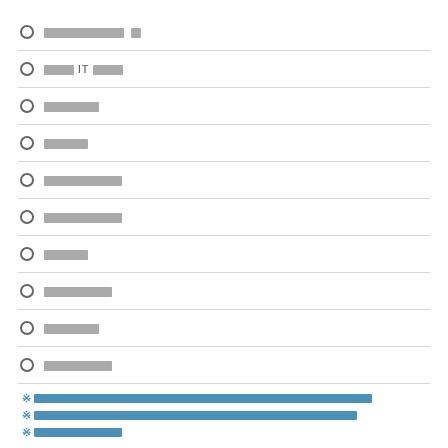█████████
███IT████
██████
█████
█████████
█████████
█████
████████
██████
████████
※ [redacted blue text line 1]
※ [redacted blue text line 2]
※ [redacted blue text partial]